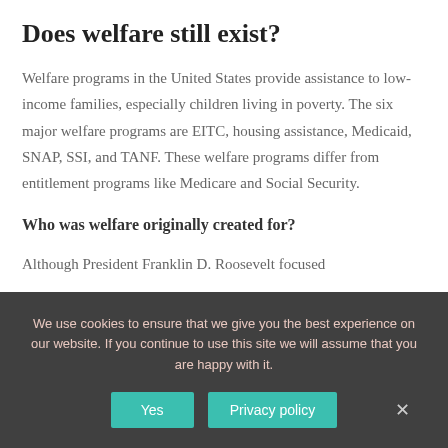Does welfare still exist?
Welfare programs in the United States provide assistance to low-income families, especially children living in poverty. The six major welfare programs are EITC, housing assistance, Medicaid, SNAP, SSI, and TANF. These welfare programs differ from entitlement programs like Medicare and Social Security.
Who was welfare originally created for?
Although President Franklin D. Roosevelt focused
We use cookies to ensure that we give you the best experience on our website. If you continue to use this site we will assume that you are happy with it.